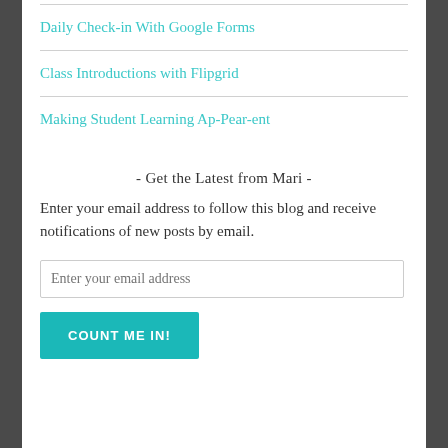Daily Check-in With Google Forms
Class Introductions with Flipgrid
Making Student Learning Ap-Pear-ent
- Get the Latest from Mari -
Enter your email address to follow this blog and receive notifications of new posts by email.
Enter your email address
COUNT ME IN!